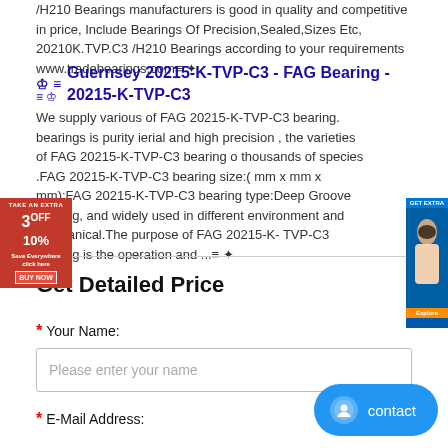/H210 Bearings manufacturers is good in quality and competitive in price, Include Bearings Of Precision,Sealed,Sizes Etc, 20210K.TVP.C3 /H210 Bearings according to your requirements www.tradebearings.com
Guernsey 20215-K-TVP-C3 - FAG Bearing - 20215-K-TVP-C3
We supply various of FAG 20215-K-TVP-C3 bearing. bearings is purity ierial and high precision , the varieties of FAG 20215-K-TVP-C3 bearing o thousands of species .FAG 20215-K-TVP-C3 bearing size:( mm x mm x mm);FAG 20215-K-TVP-C3 bearing type:Deep Groove bearing, and widely used in different environment and mechanical.The purpose of FAG 20215-K-TVP-C3 bearing is the operation and ...
Get Detailed Price
* Your Name:
Please enter your name
* E-Mail Address: